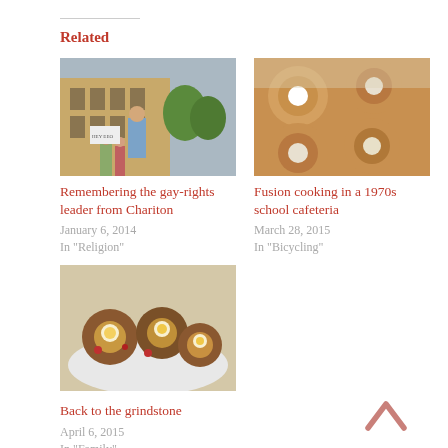Related
[Figure (photo): Man speaking at a rally in front of a building, people holding signs in background]
Remembering the gay-rights leader from Chariton
January 6, 2014
In "Religion"
[Figure (photo): Close-up of cinnamon rolls with white frosting in a baking pan]
Fusion cooking in a 1970s school cafeteria
March 28, 2015
In "Bicycling"
[Figure (photo): Egg muffin cups with fried eggs on a white plate]
Back to the grindstone
April 6, 2015
In "Family"